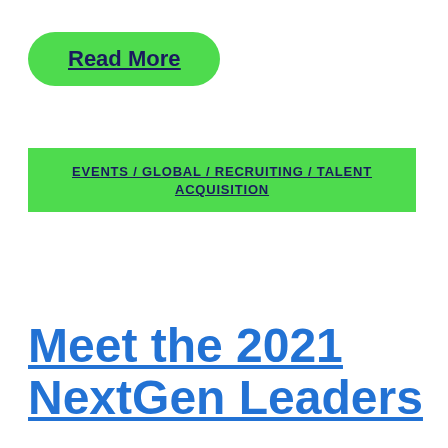Read More
EVENTS / GLOBAL / RECRUITING/TALENT ACQUISITION
Meet the 2021 NextGen Leaders